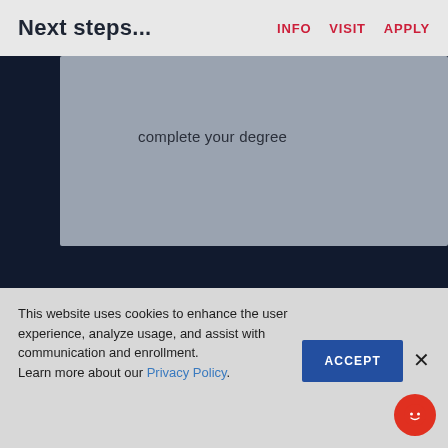Next steps...
INFO   VISIT   APPLY
complete your degree
[Figure (screenshot): Dark navy blue background section of a university website]
This website uses cookies to enhance the user experience, analyze usage, and assist with communication and enrollment.
Learn more about our Privacy Policy.